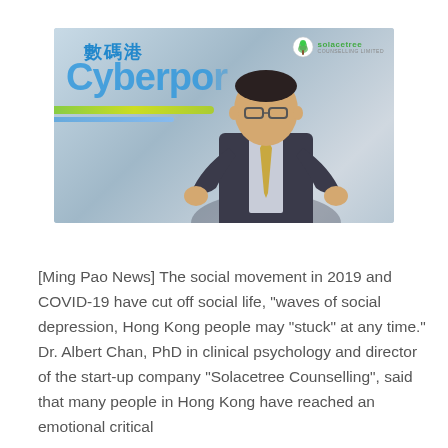[Figure (photo): Photo of Dr. Albert Chan, a man in a dark suit with glasses and a gold tie, gesturing with both hands in front of a Cyberport (數碼港) branded wall. The Solacetree Counselling Limited logo appears in the top-right corner of the image.]
[Ming Pao News] The social movement in 2019 and COVID-19 have cut off social life, "waves of social depression, Hong Kong people may "stuck" at any time." Dr. Albert Chan, PhD in clinical psychology and director of the start-up company "Solacetree Counselling", said that many people in Hong Kong have reached an emotional critical